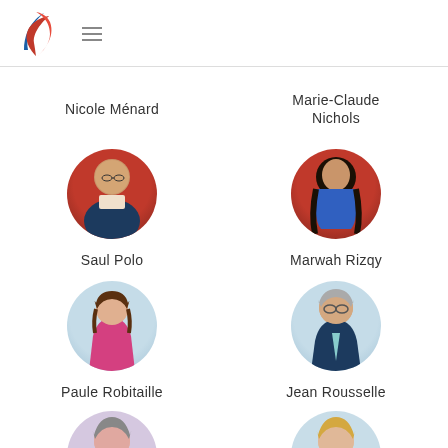Parti Libéral du Québec logo and navigation
Nicole Ménard
Marie-Claude Nichols
[Figure (photo): Circular portrait of Saul Polo against a red background]
Saul Polo
[Figure (photo): Circular portrait of Marwah Rizqy against a red background]
Marwah Rizqy
[Figure (photo): Circular portrait of Paule Robitaille against a light blue background]
Paule Robitaille
[Figure (photo): Circular portrait of Jean Rousselle against a light blue background]
Jean Rousselle
[Figure (photo): Circular portrait (partially visible) of a woman in pink against a light background]
[Figure (photo): Circular portrait (partially visible) of a woman with blonde hair against a light blue background]